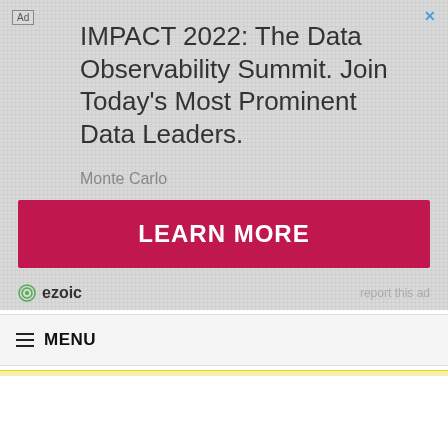[Figure (other): Advertisement banner with textured gray background. Contains 'Ad' label, close button (X), headline text 'IMPACT 2022: The Data Observability Summit. Join Today's Most Prominent Data Leaders.', brand name 'Monte Carlo', a red 'LEARN MORE' button, and ezoic logo with 'report this ad' text.]
≡ MENU